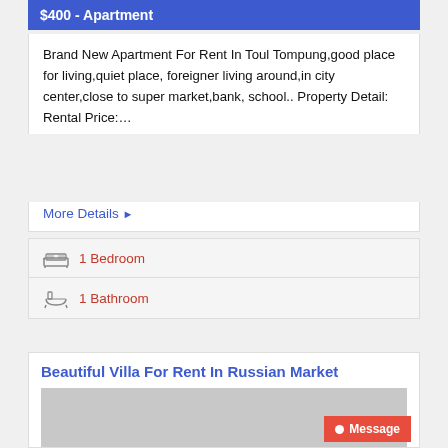$400 - Apartment
Brand New Apartment For Rent In Toul Tompung,good place for living,quiet place, foreigner living around,in city center,close to super market,bank, school.. Property Detail: Rental Price:…
More Details ▶
1 Bedroom
1 Bathroom
Beautiful Villa For Rent In Russian Market
[Figure (photo): Gray placeholder image for villa listing]
Message